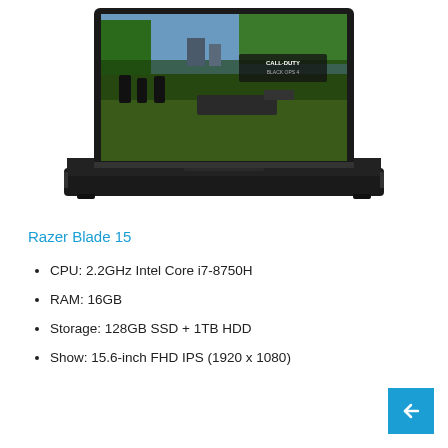[Figure (photo): Razer Blade 15 gaming laptop open, showing a Call of Duty: Black Ops 4 game on screen, viewed from slightly above front angle. Laptop has black chassis.]
Razer Blade 15
CPU: 2.2GHz Intel Core i7-8750H
RAM: 16GB
Storage: 128GB SSD + 1TB HDD
Show: 15.6-inch FHD IPS (1920 x 1080)